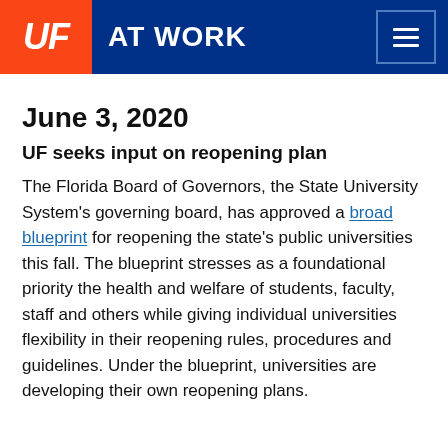UF AT WORK
June 3, 2020
UF seeks input on reopening plan
The Florida Board of Governors, the State University System's governing board, has approved a broad blueprint for reopening the state's public universities this fall. The blueprint stresses as a foundational priority the health and welfare of students, faculty, staff and others while giving individual universities flexibility in their reopening rules, procedures and guidelines. Under the blueprint, universities are developing their own reopening plans.